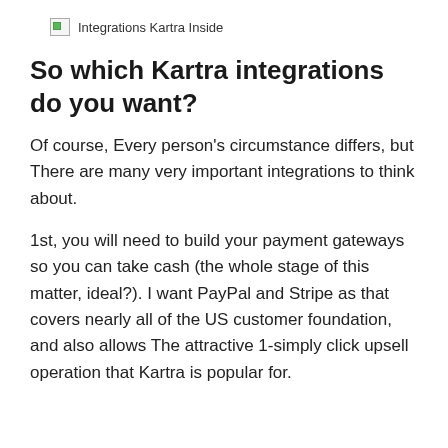[Figure (other): Broken image placeholder with label 'Integrations Kartra Inside']
So which Kartra integrations do you want?
Of course, Every person’s circumstance differs, but There are many very important integrations to think about.
1st, you will need to build your payment gateways so you can take cash (the whole stage of this matter, ideal?). I want PayPal and Stripe as that covers nearly all of the US customer foundation, and also allows The attractive 1-simply click upsell operation that Kartra is popular for.